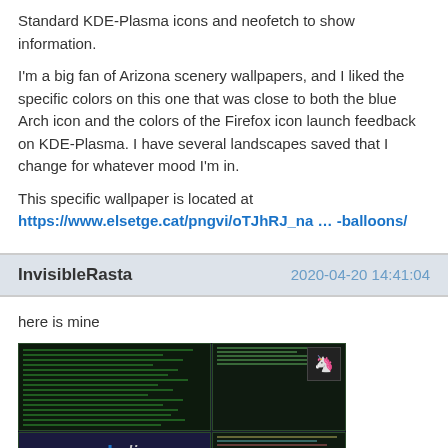Standard KDE-Plasma icons and neofetch to show information.
I'm a big fan of Arizona scenery wallpapers, and I liked the specific colors on this one that was close to both the blue Arch icon and the colors of the Firefox icon launch feedback on KDE-Plasma. I have several landscapes saved that I change for whatever mood I'm in.
This specific wallpaper is located at https://www.elsetge.cat/pngvi/oTJhRJ_na … -balloons/
InvisibleRasta
here is mine
[Figure (screenshot): Screenshot of a Linux desktop with Arch Linux wallpaper showing multiple terminal windows with green text on dark background, Arch Linux logo text, and system information panels]
Archlin